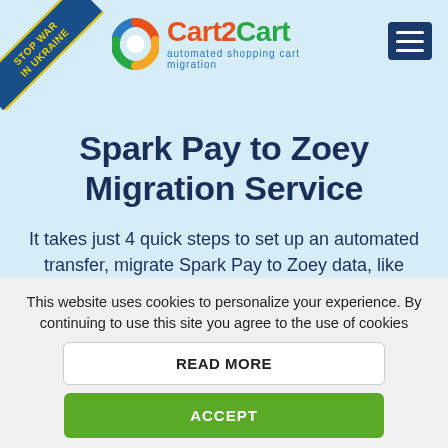[Figure (logo): Cart2Cart logo with spinning cart graphic and tagline 'automated shopping cart migration']
[Figure (illustration): Stop War In Ukraine diagonal ribbon banner in top-left corner, dark blue with yellow text]
Spark Pay to Zoey Migration Service
It takes just 4 quick steps to set up an automated transfer, migrate Spark Pay to Zoey data, like products, customers, orders, and other associated entities and create your fresh store with no effect on
This website uses cookies to personalize your experience. By continuing to use this site you agree to the use of cookies
READ MORE
ACCEPT